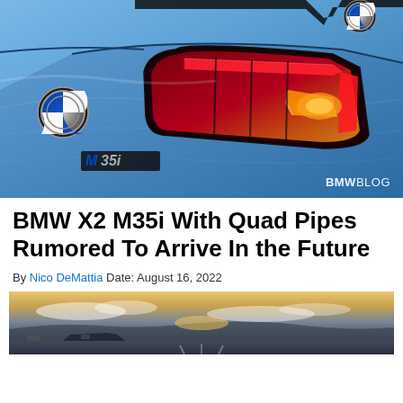[Figure (photo): Close-up rear view of a blue BMW X2 M35i showing the M35i badge and red LED tail lights, with a BMWBLOG watermark]
BMW X2 M35i With Quad Pipes Rumored To Arrive In the Future
By Nico DeMattia Date: August 16, 2022
[Figure (photo): Outdoor scenic photo showing a BMW vehicle at sunset with dramatic sky and clouds]